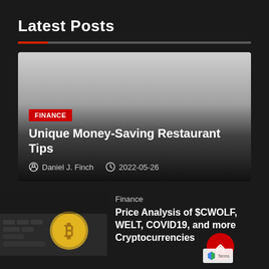Latest Posts
[Figure (photo): Featured finance article card with gradient background from light gray to dark, with red FINANCE badge, article title, and author/date metadata]
FINANCE
Unique Money-Saving Restaurant Tips
Daniel J. Finch   2022-05-26
[Figure (photo): Thumbnail photo of Bitcoin coin on dark background with keyboard/electronic device]
Finance
Price Analysis of $CWOLF, WELT, COVID19, and more Cryptocurrencies